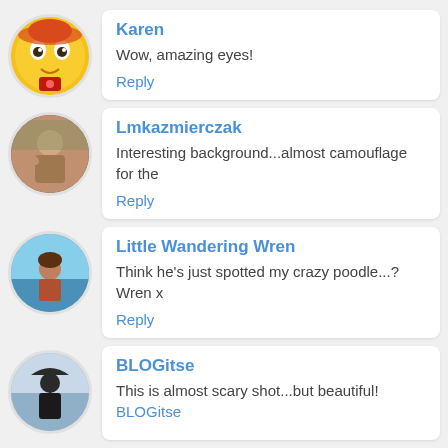[Figure (illustration): Circular avatar of Karen - a yellow cartoon emoji character with big eyes and red accents]
Karen
Wow, amazing eyes!
Reply
[Figure (photo): Circular avatar of Lmkazmierczak - a person outdoors with warm tones]
Lmkazmierczak
Interesting background...almost camouflage for the
Reply
[Figure (photo): Circular avatar of Little Wandering Wren - a person near water with blue sky]
Little Wandering Wren
Think he's just spotted my crazy poodle...?
Wren x
Reply
[Figure (photo): Circular avatar of BLOGitse - a silhouette of a person with umbrella near water]
BLOGitse
This is almost scary shot...but beautiful!
BLOGitse